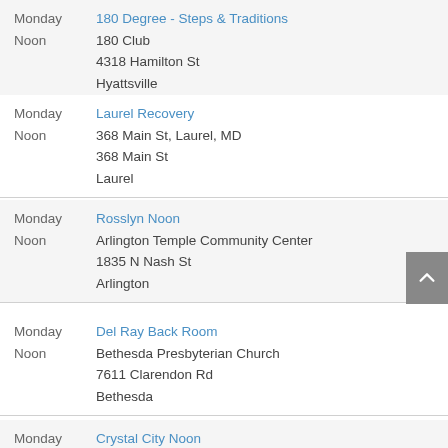Monday Noon | 180 Degree - Steps & Traditions | 180 Club | 4318 Hamilton St | Hyattsville
Monday Noon | Laurel Recovery | 368 Main St, Laurel, MD | 368 Main St | Laurel
Monday Noon | Rosslyn Noon | Arlington Temple Community Center | 1835 N Nash St | Arlington
Monday Noon | Del Ray Back Room | Bethesda Presbyterian Church | 7611 Clarendon Rd | Bethesda
Monday | Crystal City Noon